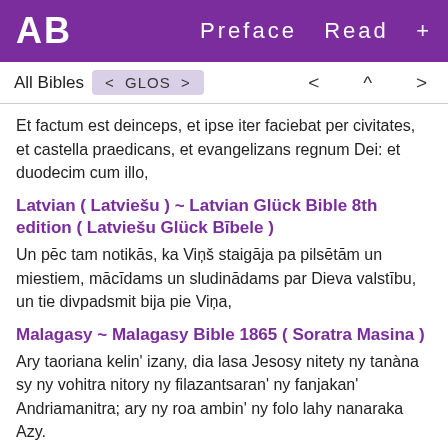AB  Preface  Read  +
All Bibles  < GLOS >   < ^ >
Et factum est deinceps, et ipse iter faciebat per civitates, et castella praedicans, et evangelizans regnum Dei: et duodecim cum illo,
Latvian ( Latviešu ) ~ Latvian Glück Bible 8th edition ( Latviešu Glück Bībele )
Un pēc tam notikās, ka Viņš staigāja pa pilsētām un miestiem, mācīdams un sludinādams par Dieva valstību, un tie divpadsmit bija pie Viņa,
Malagasy ~ Malagasy Bible 1865 ( Soratra Masina )
Ary taoriana kelin' izany, dia lasa Jesosy nitety ny tanàna sy ny vohitra nitory ny filazantsaran' ny fanjakan' Andriamanitra; ary ny roa ambin' ny folo lahy nanaraka Azy.